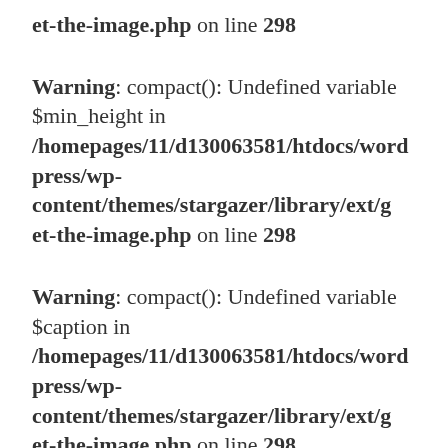et-the-image.php on line 298
Warning: compact(): Undefined variable $min_height in /homepages/11/d130063581/htdocs/wordpress/wp-content/themes/stargazer/library/ext/get-the-image.php on line 298
Warning: compact(): Undefined variable $caption in /homepages/11/d130063581/htdocs/wordpress/wp-content/themes/stargazer/library/ext/get-the-image.php on line 298